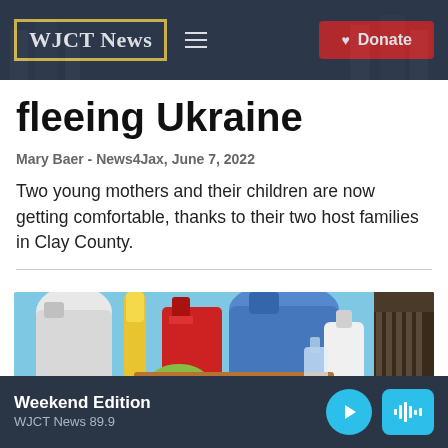WJCT News — navigation header with logo, hamburger menu, Donate button
fleeing Ukraine
Mary Baer - News4Jax, June 7, 2022
Two young mothers and their children are now getting comfortable, thanks to their two host families in Clay County.
[Figure (photo): Close-up photo of colorful cleaning supplies including toothbrushes, bottles, and a comb on a light blue background]
Weekend Edition — WJCT News 89.9 — audio player controls